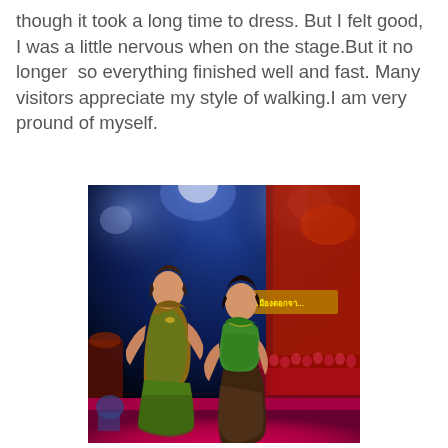though it took a long time to dress. But I felt good,  I was a little nervous when on the stage.But it no longer  so everything finished well and fast. Many visitors appreciate my style of walking.I am very pround of myself.
[Figure (photo): Two women in traditional Thai/Southeast Asian costumes posing on a stage at night. The woman on the left wears a green and gold strapless dress, the woman on the right wears a green top with a dark brown patterned skirt. Behind them is a red stage backdrop with Thai text signage and a large crowd. Stage lighting illuminates the scene.]